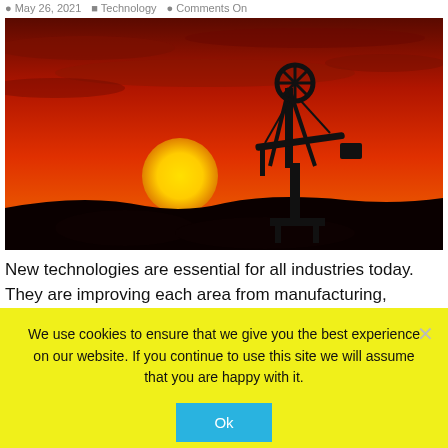May 26, 2021   Technology   Comments On
[Figure (photo): Oil pump jack silhouette against a dramatic red-orange sunset sky with a large yellow sun on the horizon]
New technologies are essential for all industries today. They are improving each area from manufacturing, promotion, trading, analyses, and more. When it comes to the oil industry, we can notice that the integration of
We use cookies to ensure that we give you the best experience on our website. If you continue to use this site we will assume that you are happy with it.
Ok